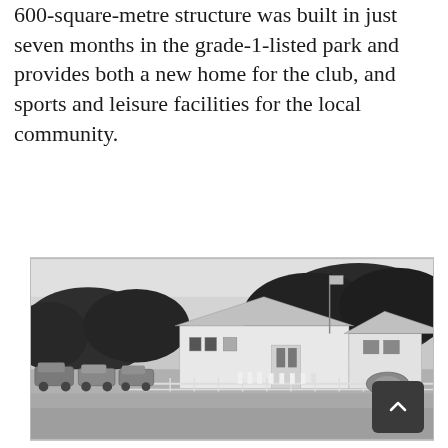600-square-metre structure was built in just seven months in the grade-1-listed park and provides both a new home for the club, and sports and leisure facilities for the local community.
[Figure (photo): Black and white photograph of a cricket club pavilion building with a pitched metal roof and flagpole. Trees visible in the background. Vintage cars parked to the left. People in white cricket clothing visible near the pavilion entrance. A roller is visible on the right side of the pitch.]